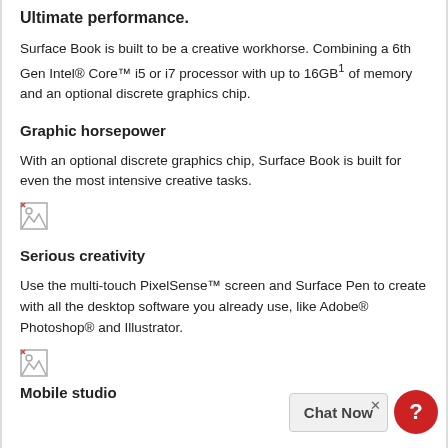Ultimate performance.
Surface Book is built to be a creative workhorse. Combining a 6th Gen Intel® Core™ i5 or i7 processor with up to 16GB1 of memory and an optional discrete graphics chip.
Graphic horsepower
With an optional discrete graphics chip, Surface Book is built for even the most intensive creative tasks.
[Figure (illustration): Small broken image placeholder icon]
Serious creativity
Use the multi-touch PixelSense™ screen and Surface Pen to create with all the desktop software you already use, like Adobe® Photoshop® and Illustrator.
[Figure (illustration): Small broken image placeholder icon]
Mobile studio